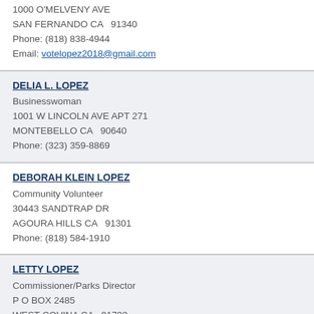1000 O'MELVENY AVE
SAN FERNANDO CA  91340
Phone: (818) 838-4944
Email: votelopez2018@gmail.com
DELIA L. LOPEZ
Businesswoman
1001 W LINCOLN AVE APT 271
MONTEBELLO CA  90640
Phone: (323) 359-8869
DEBORAH KLEIN LOPEZ
Community Volunteer
30443 SANDTRAP DR
AGOURA HILLS CA  91301
Phone: (818) 584-1910
LETTY LOPEZ
Commissioner/Parks Director
P O BOX 2485
WEST COVINA CA  91793
Phone: (626) 313-9733
MICHAEL WILLIAM LOPEZ
Retired Educator